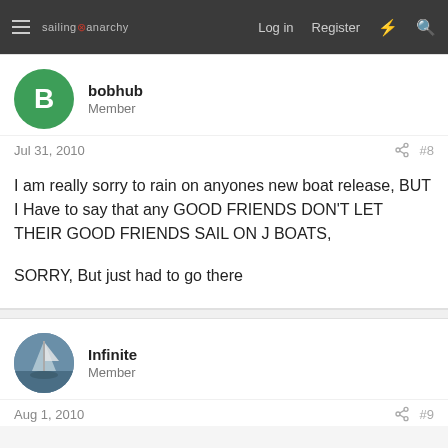sailing anarchy | Log in  Register
bobhub
Member
Jul 31, 2010  #8
I am really sorry to rain on anyones new boat release, BUT I Have to say that any GOOD FRIENDS DON'T LET THEIR GOOD FRIENDS SAIL ON J BOATS,

SORRY, But just had to go there
Infinite
Member
Aug 1, 2010  #9